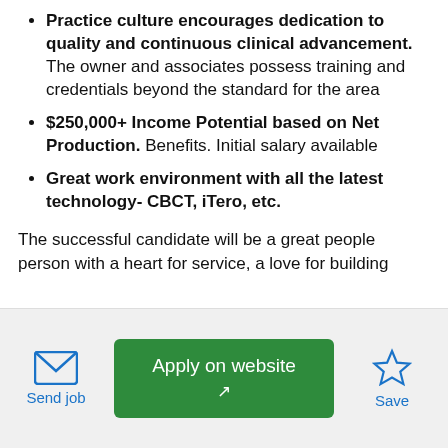Practice culture encourages dedication to quality and continuous clinical advancement. The owner and associates possess training and credentials beyond the standard for the area
$250,000+ Income Potential based on Net Production. Benefits. Initial salary available
Great work environment with all the latest technology- CBCT, iTero, etc.
The successful candidate will be a great people person with a heart for service, a love for building
Send job
Apply on website
Save